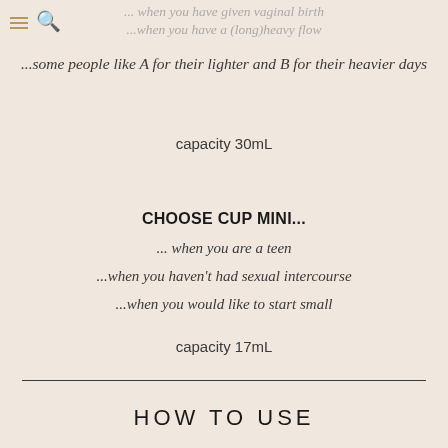... when you have given vaginal birth
...when you have a (long)heavy flow
...some people like A for their lighter and B for their heavier days
capacity 30mL
CHOOSE CUP MINI...
... when you are a teen
...when you haven't had sexual intercourse
...when you would like to start small
capacity 17mL
HOW TO USE